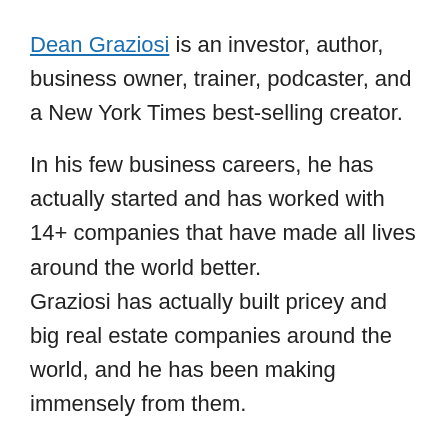Dean Graziosi is an investor, author, business owner, trainer, podcaster, and a New York Times best-selling creator.
In his few business careers, he has actually started and has worked with 14+ companies that have made all lives around the world better. Graziosi has actually built pricey and big real estate companies around the world, and he has been making immensely from them.
He is not just a entrepreneur, but he's also a fantastic tutor.
Dean is an inspired businessman who likes sharing